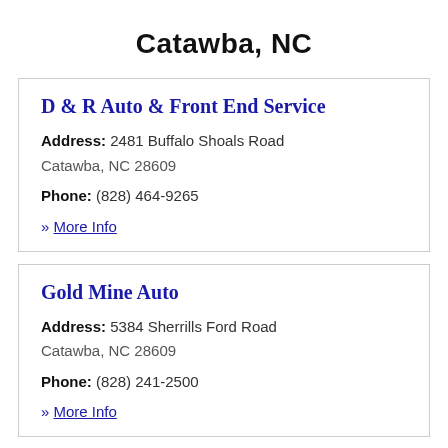Catawba, NC
D & R Auto & Front End Service
Address: 2481 Buffalo Shoals Road
Catawba, NC 28609
Phone: (828) 464-9265
» More Info
Gold Mine Auto
Address: 5384 Sherrills Ford Road
Catawba, NC 28609
Phone: (828) 241-2500
» More Info